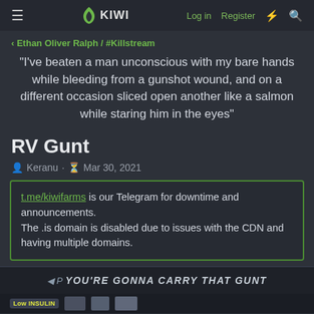KIWI | Log in | Register
Ethan Oliver Ralph / #Killstream
"I've beaten a man unconscious with my bare hands while bleeding from a gunshot wound, and on a different occasion sliced open another like a salmon while staring him in the eyes"
RV Gunt
Keranu · Mar 30, 2021
t.me/kiwifarms is our Telegram for downtime and announcements.
The .is domain is disabled due to issues with the CDN and having multiple domains.
YOU'RE GONNA CARRY THAT GUNT